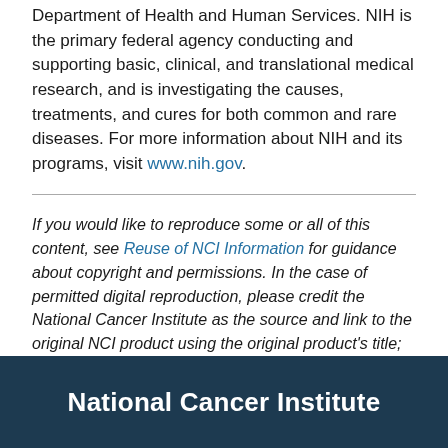Department of Health and Human Services. NIH is the primary federal agency conducting and supporting basic, clinical, and translational medical research, and is investigating the causes, treatments, and cures for both common and rare diseases. For more information about NIH and its programs, visit www.nih.gov.
If you would like to reproduce some or all of this content, see Reuse of NCI Information for guidance about copyright and permissions. In the case of permitted digital reproduction, please credit the National Cancer Institute as the source and link to the original NCI product using the original product's title; e.g., "Significant expansion of data available in the Genomic Data Commons was originally published by the National Cancer Institute."
National Cancer Institute